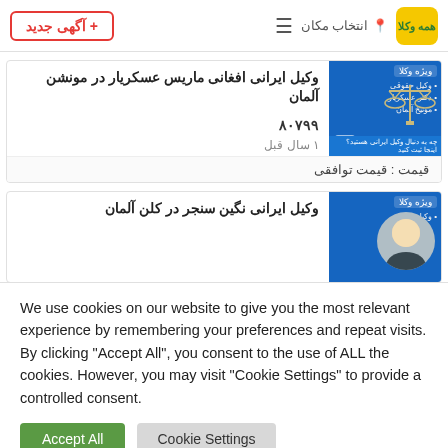+ آگهی جدید | انتخاب مکان | همه وکلا
وکیل ایرانی افغانی ماریس عسکریار در مونشن آلمان
۸۰۷۹۹
۱ سال قبل
قیمت : قیمت توافقی
وکیل ایرانی نگین سنجر در کلن آلمان
We use cookies on our website to give you the most relevant experience by remembering your preferences and repeat visits. By clicking "Accept All", you consent to the use of ALL the cookies. However, you may visit "Cookie Settings" to provide a controlled consent.
Accept All
Cookie Settings